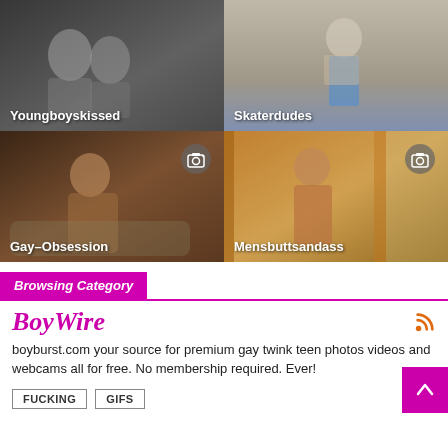[Figure (photo): Grid of four thumbnail images: top-left showing two figures (Youngboyskissed), top-right showing a figure in shorts (Skaterdudes), bottom-left showing a reclining figure with camera overlay icon (Gay-Obsession), bottom-right showing a figure from behind with camera overlay icon (Mensbuttsandass)]
Browsing Category
BoyWire
boyburst.com your source for premium gay twink teen photos videos and webcams all for free. No membership required. Ever!
FUCKING
GIFS